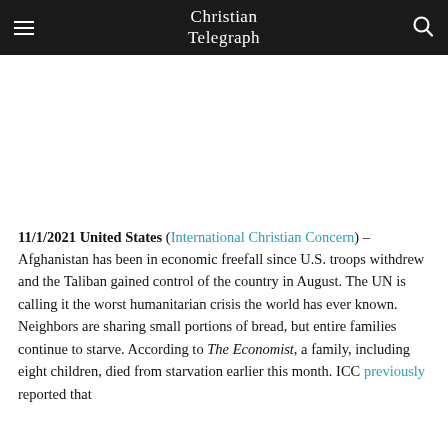Christian Telegraph
11/1/2021 United States (International Christian Concern) – Afghanistan has been in economic freefall since U.S. troops withdrew and the Taliban gained control of the country in August. The UN is calling it the worst humanitarian crisis the world has ever known. Neighbors are sharing small portions of bread, but entire families continue to starve. According to The Economist, a family, including eight children, died from starvation earlier this month. ICC previously reported that